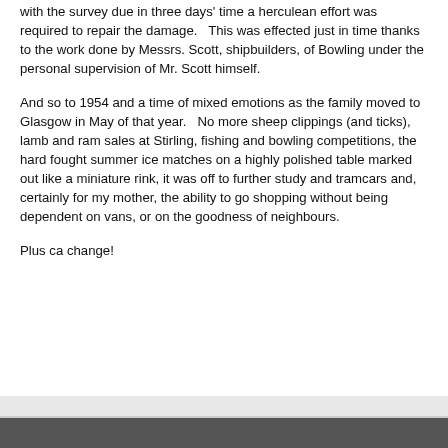with the survey due in three days' time a herculean effort was required to repair the damage.   This was effected just in time thanks to the work done by Messrs. Scott, shipbuilders, of Bowling under the personal supervision of Mr. Scott himself.
And so to 1954 and a time of mixed emotions as the family moved to Glasgow in May of that year.   No more sheep clippings (and ticks), lamb and ram sales at Stirling, fishing and bowling competitions, the hard fought summer ice matches on a highly polished table marked out like a miniature rink, it was off to further study and tramcars and, certainly for my mother, the ability to go shopping without being dependent on vans, or on the goodness of neighbours.
Plus ca change!